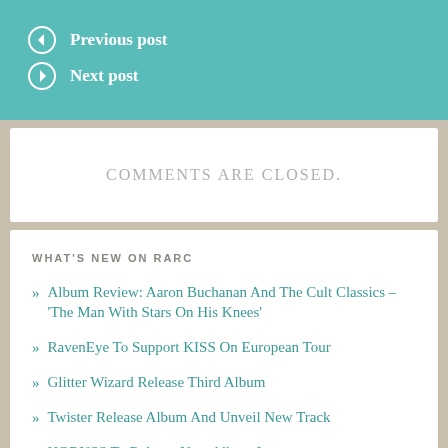Previous post
Next post
COMMENTS ARE CLOSED.
WHAT'S NEW ON RARC
» Album Review: Aaron Buchanan And The Cult Classics – 'The Man With Stars On His Knees'
» RavenEye To Support KISS On European Tour
» Glitter Wizard Release Third Album
» Twister Release Album And Unveil New Track
» HORNSS To Release New Album In